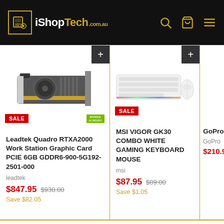[Figure (logo): iShopTech.com.au logo on black header with search, cart, and menu icons in gold]
[Figure (photo): Leadtek Quadro RTXA2000 graphics card with SALE badge and NVIDIA AI READY badge]
Leadtek Quadro RTXA2000 Work Station Graphic Card PCIE 6GB GDDR6-900-5G192-2501-000
leadtek
$847.95 $930.00 Save $82.05
[Figure (photo): MSI VIGOR GK30 white gaming keyboard and mouse combo with RGB lighting, SALE badge]
MSI VIGOR GK30 COMBO WHITE GAMING KEYBOARD MOUSE
msi
$87.95 $89.00 Save $1.05
GoPro W
GoPro
$210.9